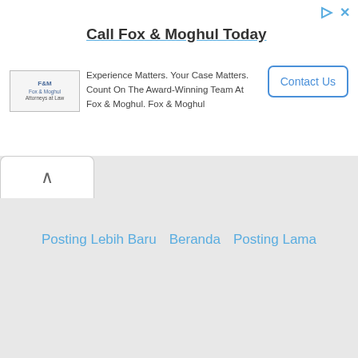[Figure (screenshot): Advertisement banner for Fox & Moghul law firm with logo, headline, body text, and Contact Us button]
Call Fox & Moghul Today
Experience Matters. Your Case Matters. Count On The Award-Winning Team At Fox & Moghul. Fox & Moghul
Posting Lebih Baru
Beranda
Posting Lama
Home
Contact us
About
Privacy Policy